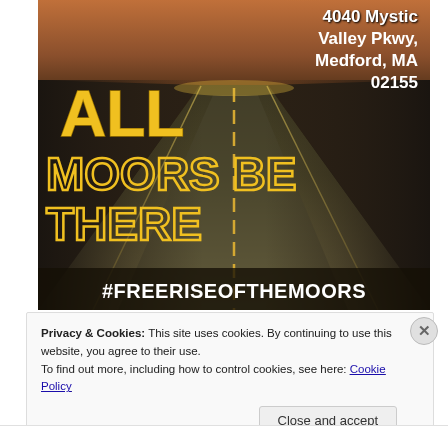[Figure (photo): Road stretching to horizon at sunset with rocky terrain on sides. Text overlay: '4040 Mystic Valley Pkwy, Medford, MA 02155' in white top right, 'ALL' in large yellow top left, 'MOORS BE THERE' in large yellow outline letters center-left, '#FREERISEOFTHEMOORS' in white on dark bar at bottom.]
Privacy & Cookies: This site uses cookies. By continuing to use this website, you agree to their use.
To find out more, including how to control cookies, see here: Cookie Policy